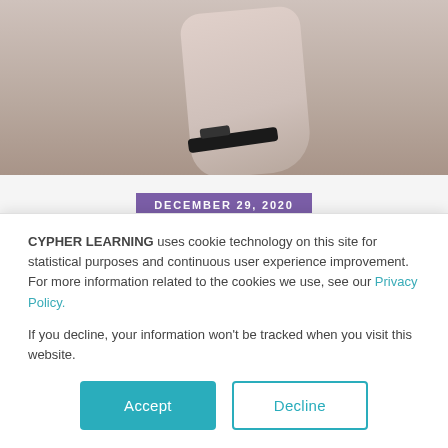[Figure (photo): Close-up photo of a person holding glasses, with hand and hair visible against a light background]
DECEMBER 29, 2020
The difference between being a teacher and an online course
CYPHER LEARNING uses cookie technology on this site for statistical purposes and continuous user experience improvement. For more information related to the cookies we use, see our Privacy Policy.
If you decline, your information won't be tracked when you visit this website.